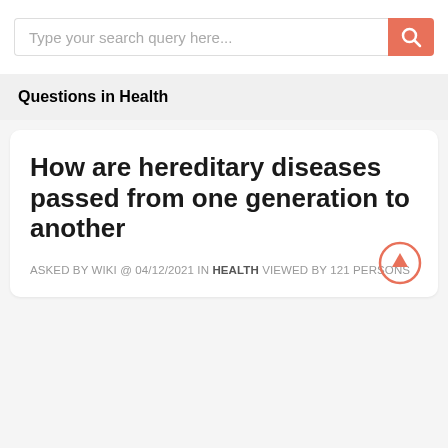Type your search query here...
Questions in Health
How are hereditary diseases passed from one generation to another
ASKED BY WIKI @ 04/12/2021 IN HEALTH VIEWED BY 121 PERSONS